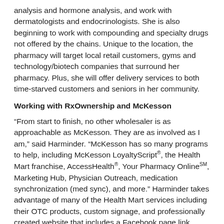analysis and hormone analysis, and work with dermatologists and endocrinologists. She is also beginning to work with compounding and specialty drugs not offered by the chains. Unique to the location, the pharmacy will target local retail customers, gyms and technology/biotech companies that surround her pharmacy. Plus, she will offer delivery services to both time-starved customers and seniors in her community.
Working with RxOwnership and McKesson
“From start to finish, no other wholesaler is as approachable as McKesson. They are as involved as I am,” said Harminder. “McKesson has so many programs to help, including McKesson LoyaltyScript®, the Health Mart franchise, AccessHealth®, Your Pharmacy Online℠, Marketing Hub, Physician Outreach, medication synchronization (med sync), and more.” Harminder takes advantage of many of the Health Mart services including their OTC products, custom signage, and professionally created website that includes a Facebook page link. After opening in June 2015, she found that participation in AccessHealth was critical to her early success. “No one besides McKesson has the full package of solutions that help get you through initial financing all the way to your grand opening,” said Harminder.